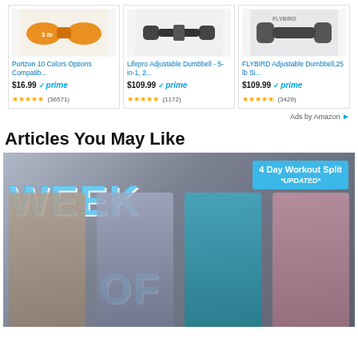[Figure (other): Amazon ad row with three dumbbell products: Portzon 10 Colors Options Compatib... $16.99 prime (36571 reviews), Lifepro Adjustable Dumbbell - 5-in-1, 2... $109.99 prime (1172 reviews), FLYBIRD Adjustable Dumbbell,25 lb Si... $109.99 prime (3429 reviews)]
Ads by Amazon
Articles You May Like
[Figure (photo): Workout article thumbnail showing four women in gym wear with text 'WEEK OF' in large blue letters and '4 Day Workout Split *UPDATED*' badge in top right corner]